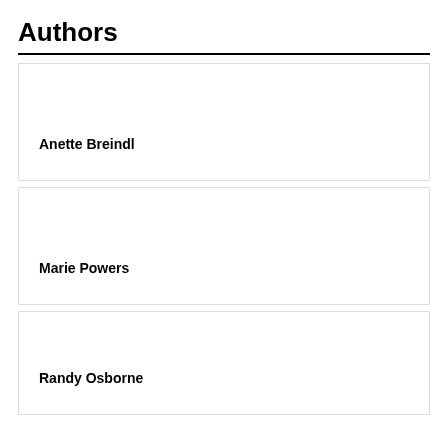Authors
Anette Breindl
Marie Powers
Randy Osborne